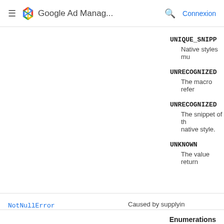≡ Google Ad Manag... 🔍 Connexion
UNIQUE_SNIPP
Native styles mu
UNRECOGNIZED
The macro refer
UNRECOGNIZED
The snippet of th native style.
UNKNOWN
The value return
NotNullError
Caused by supplyin
Enumerations